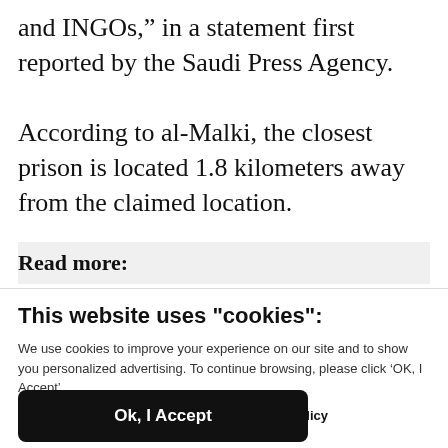and INGOs," in a statement first reported by the Saudi Press Agency.
According to al-Malki, the closest prison is located 1.8 kilometers away from the claimed location.
Read more:
This website uses "cookies":
We use cookies to improve your experience on our site and to show you personalized advertising. To continue browsing, please click ‘OK, I Accept’.
For more information, please read our Privacy Policy
Ok, I Accept